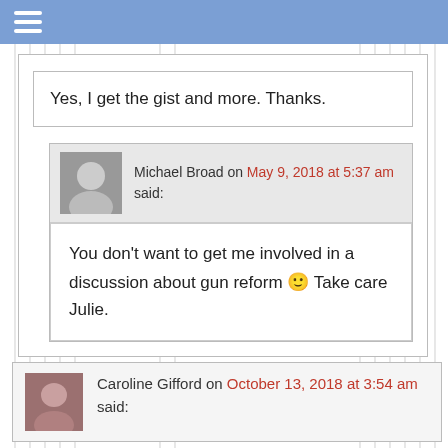☰
Yes, I get the gist and more. Thanks.
Michael Broad on May 9, 2018 at 5:37 am said:
You don't want to get me involved in a discussion about gun reform 🙂 Take care Julie.
Caroline Gifford on October 13, 2018 at 3:54 am said: